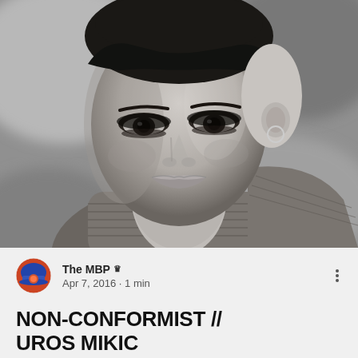[Figure (photo): Black and white close-up portrait photograph of a person with short dark hair and dramatic eye makeup, wearing a knit turtleneck sweater and a necklace, looking directly at the camera.]
The MBP 👑
Apr 7, 2016 · 1 min
NON-CONFORMIST // UROS MIKIC